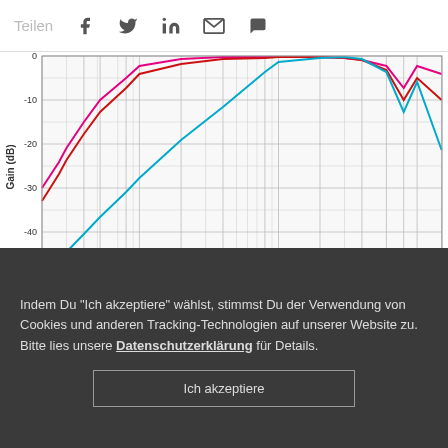Teilen [social icons: Facebook, Twitter, LinkedIn, Email, Chat]
[Figure (continuous-plot): Three frequency response curves on a log-frequency axis showing EQ transfer functions. Pink curve at 120dB SPL, red curve at 80dB SPL, blue curve at 40dB SPL. X-axis runs from 20 Hz to 15 kHz. Y-axis runs from -50 to 0 dB.]
Figure 6: The equalization applied in the ear depends on level.
Indem Du "Ich akzeptiere" wählst, stimmst Du der Verwendung von Cookies und anderen Tracking-Technologien auf unserer Website zu. Bitte lies unsere Datenschutzerklärung für Details.
Ich akzeptiere
for three transfer functions at different levels. It is assumed. For this presentation, a datum is always 0 dB at 1000 Hz. The equalization is derived fro...